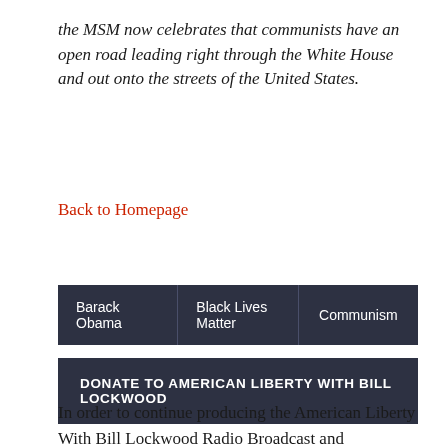the MSM now celebrates that communists have an open road leading right through the White House and out onto the streets of the United States.
Back to Homepage
| Barack Obama | Black Lives Matter | Communism |
| --- | --- | --- |
DONATE TO AMERICAN LIBERTY WITH BILL LOCKWOOD
In order to continue producing the American Liberty With Bill Lockwood Radio Broadcast and maintaining our informative Website we appreciate your generous